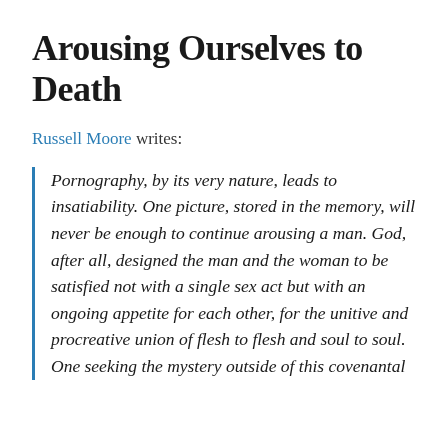Arousing Ourselves to Death
Russell Moore writes:
Pornography, by its very nature, leads to insatiability. One picture, stored in the memory, will never be enough to continue arousing a man. God, after all, designed the man and the woman to be satisfied not with a single sex act but with an ongoing appetite for each other, for the unitive and procreative union of flesh to flesh and soul to soul. One seeking the mystery outside of this covenantal